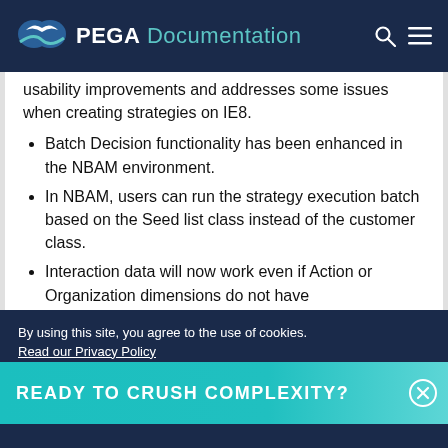PEGA Documentation
usability improvements and addresses some issues when creating strategies on IE8.
Batch Decision functionality has been enhanced in the NBAM environment.
In NBAM, users can run the strategy execution batch based on the Seed list class instead of the customer class.
Interaction data will now work even if Action or Organization dimensions do not have
READY TO CRUSH COMPLEXITY?
By using this site, you agree to the use of cookies.
Read our Privacy Policy
Accept and continue   About cookies